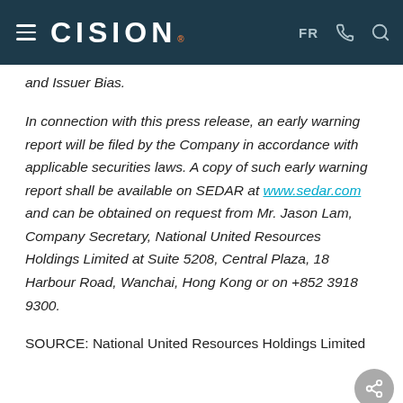CISION | FR
and Issuer Bias.
In connection with this press release, an early warning report will be filed by the Company in accordance with applicable securities laws. A copy of such early warning report shall be available on SEDAR at www.sedar.com and can be obtained on request from Mr. Jason Lam, Company Secretary, National United Resources Holdings Limited at Suite 5208, Central Plaza, 18 Harbour Road, Wanchai, Hong Kong or on +852 3918 9300.
SOURCE: National United Resources Holdings Limited